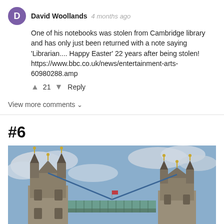David Woollands  4 months ago
One of his notebooks was stolen from Cambridge library and has only just been returned with a note saying 'Librarian.... Happy Easter' 22 years after being stolen! https://www.bbc.co.uk/news/entertainment-arts-60980288.amp
▲ 21 ▼  Reply
View more comments ∨
#6
[Figure (photo): Photo of Tower Bridge in London showing two Gothic towers connected by a horizontal bridge span, photographed from below with a cloudy sky in the background]